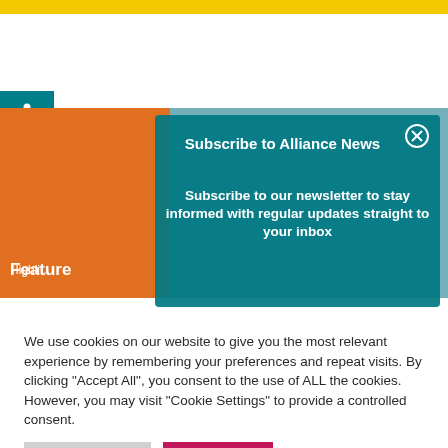[Figure (screenshot): Website screenshot with yellow top bar, accessibility icon, orange feature block with 'Feature' label and 'August' text, teal subscribe newsletter modal overlay with close button]
Subscribe to Alliance News
Subscribe to our newsletter to stay informed with regular updates straight to your inbox
We use cookies on our website to give you the most relevant experience by remembering your preferences and repeat visits. By clicking "Accept All", you consent to the use of ALL the cookies. However, you may visit "Cookie Settings" to provide a controlled consent.
Cookie Settings
Accept All